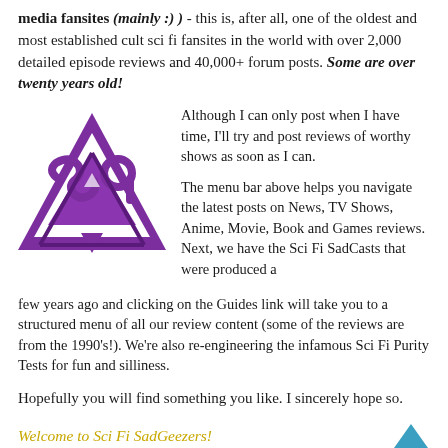media fansites (mainly :) ) - this is, after all, one of the oldest and most established cult sci fi fansites in the world with over 2,000 detailed episode reviews and 40,000+ forum posts. Some are over twenty years old!
[Figure (logo): Purple triangular sci-fi logo with stylized 'S9' or similar lettering in purple/violet tones]
Although I can only post when I have time, I'll try and post reviews of worthy shows as soon as I can.
The menu bar above helps you navigate the latest posts on News, TV Shows, Anime, Movie, Book and Games reviews. Next, we have the Sci Fi SadCasts that were produced a few years ago and clicking on the Guides link will take you to a structured menu of all our review content (some of the reviews are from the 1990's!). We're also re-engineering the infamous Sci Fi Purity Tests for fun and silliness.
Hopefully you will find something you like. I sincerely hope so.
Welcome to Sci Fi SadGeezers!
[Figure (logo): Small circular/globe logo at bottom left]